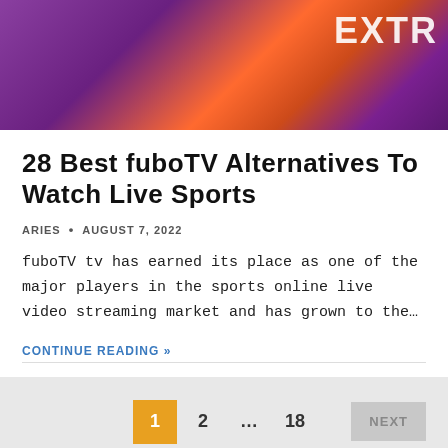[Figure (screenshot): Hero banner image with purple and orange gradient background, showing partial text 'EXTRA' in white on right side]
28 Best fuboTV Alternatives To Watch Live Sports
ARIES · AUGUST 7, 2022
fuboTV tv has earned its place as one of the major players in the sports online live video streaming market and has grown to the…
CONTINUE READING »
1  2  ...  18  NEXT